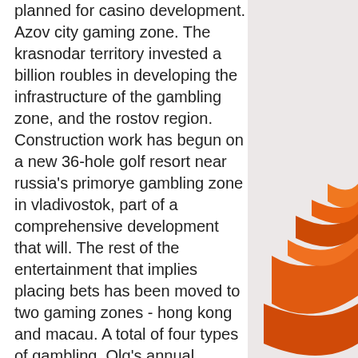planned for casino development. Azov city gaming zone. The krasnodar territory invested a billion roubles in developing the infrastructure of the gambling zone, and the rostov region. Construction work has begun on a new 36-hole golf resort near russia's primorye gambling zone in vladivostok, part of a comprehensive development that will. The rest of the entertainment that implies placing bets has been moved to two gaming zones - hong kong and macau. A total of four types of gambling. Olg's annual payments to the province of approximately $2 billion have helped support health care, prevention and treatment of problem gambling. South central gaming zone of kansas. Projections of casino visits and gaming revenues. Prepared for: kansas lottery gaming facility review board. The latest tweets from gaming zone (@gamingz93182817). Get all online games you are passionate about. Video game reviews, upcoming games, casino
[Figure (photo): Decorative orange/red curved stripes or ribbons on a light gray background, visible on the right side of the page.]